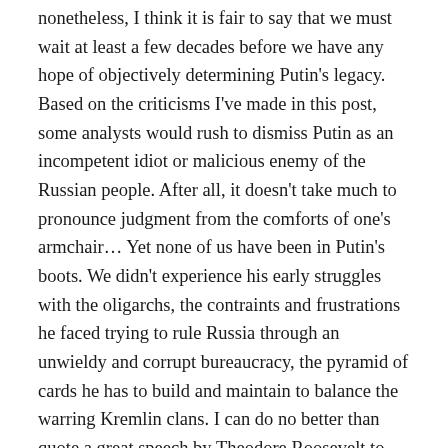nonetheless, I think it is fair to say that we must wait at least a few decades before we have any hope of objectively determining Putin's legacy. Based on the criticisms I've made in this post, some analysts would rush to dismiss Putin as an incompetent idiot or malicious enemy of the Russian people. After all, it doesn't take much to pronounce judgment from the comforts of one's armchair… Yet none of us have been in Putin's boots. We didn't experience his early struggles with the oligarchs, the contraints and frustrations he faced trying to rule Russia through an unwieldy and corrupt bureaucracy, the pyramid of cards he has to build and maintain to balance the warring Kremlin clans. I can do no better than quote a great speech by Theodore Roosevelt to illustrate this point:
It is not the critic who counts: not the man who points out how the strong man stumbles or where the doer of deeds could have done better. The